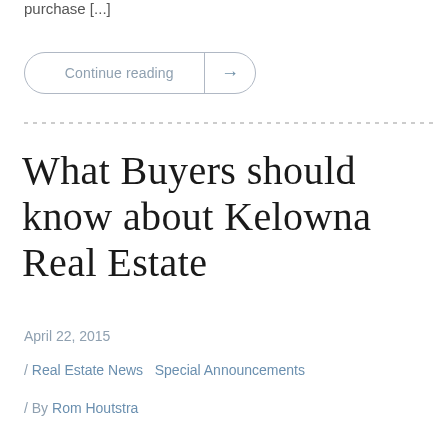purchase [...]
Continue reading →
What Buyers should know about Kelowna Real Estate
April 22, 2015
/ Real Estate News   Special Announcements
/ By Rom Houtstra